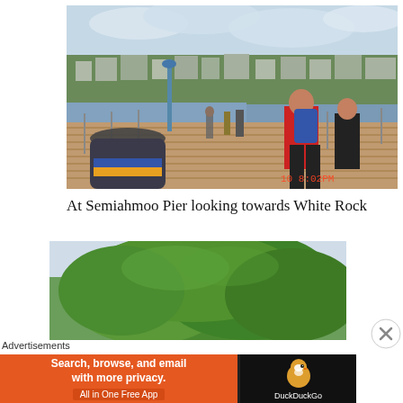[Figure (photo): People walking on Semiahmoo Pier boardwalk with a waterfront town visible in the background, overcast sky, a trash can in the foreground, and a timestamp in red reading '10 8:02PM'. A man in a red jacket with a blue backpack and a person in black are visible in the right foreground.]
At Semiahmoo Pier looking towards White Rock
[Figure (photo): A large green tree with full foliage against a light sky, partially cropped.]
Advertisements
[Figure (screenshot): DuckDuckGo advertisement banner: orange left side reads 'Search, browse, and email with more privacy. All in One Free App', dark right side shows DuckDuckGo duck logo and text 'DuckDuckGo'.]